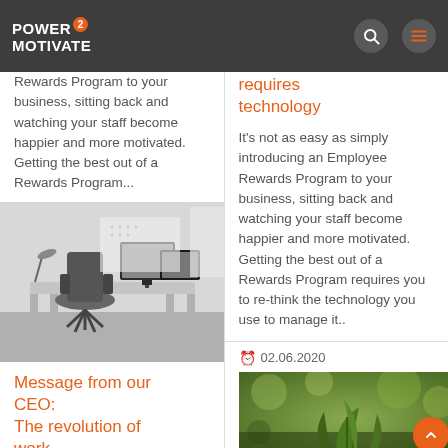Power2Motivate
Rewards Program to your business, sitting back and watching your staff become happier and more motivated. Getting the best out of a Rewards Program...
[Figure (photo): Black and white photo of an office workspace with a desk, office chair, and computer monitor]
Message from our CEO:
The revolution of work
At a March 25th CarltonOne townhall
requires
technology
It's not as easy as simply introducing an Employee Rewards Program to your business, sitting back and watching your staff become happier and more motivated. Getting the best out of a Rewards Program requires you to re-think the technology you use to manage it..
02.06.2020
[Figure (photo): Photo of green plant seedlings with bokeh background]